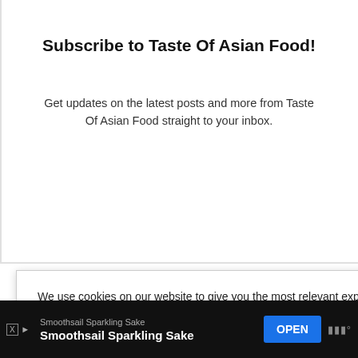[Figure (photo): Partial view of a person in colorful clothing, cropped at top of page]
Subscribe to Taste Of Asian Food!
Get updates on the latest posts and more from Taste Of Asian Food straight to your inbox.
We use cookies on our website to give you the most relevant experience by remembering your preferences and repeat visits. By clicking “ACCEPT ALL”, you consent to the use of ALL the cookies. However, you may visit “Cookie Settings” to provide a controlled consent.
Cookie Settings   REJECT ALL   ACCEPT ALL
alized ads.
blespoon of
5.1K
/, the purp
egg yolk
Smoothsail Sparkling Sake  Smoothsail Sparkling Sake  OPEN